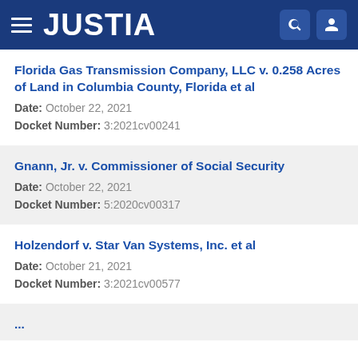JUSTIA
Florida Gas Transmission Company, LLC v. 0.258 Acres of Land in Columbia County, Florida et al
Date: October 22, 2021
Docket Number: 3:2021cv00241
Gnann, Jr. v. Commissioner of Social Security
Date: October 22, 2021
Docket Number: 5:2020cv00317
Holzendorf v. Star Van Systems, Inc. et al
Date: October 21, 2021
Docket Number: 3:2021cv00577
...